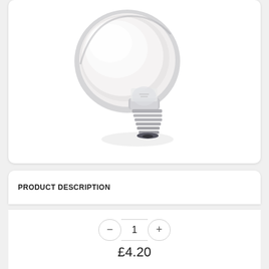[Figure (photo): A halogen or incandescent reflector light bulb (R-type) with a frosted/white dome and silver reflector coating, angled with the Edison screw base visible at the bottom right.]
PRODUCT DESCRIPTION
1
£4.20